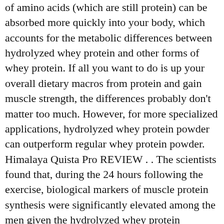of amino acids (which are still protein) can be absorbed more quickly into your body, which accounts for the metabolic differences between hydrolyzed whey protein and other forms of whey protein. If all you want to do is up your overall dietary macros from protein and gain muscle strength, the differences probably don't matter too much. However, for more specialized applications, hydrolyzed whey protein powder can outperform regular whey protein powder. Himalaya Quista Pro REVIEW . . The scientists found that, during the 24 hours following the exercise, biological markers of muscle protein synthesis were significantly elevated among the men given the hydrolyzed whey protein supplement. Hydrolyzed whey protein is a pretty simple product, so our single biggest priority was product purity. Dymatize's flagship protein has won a ton of